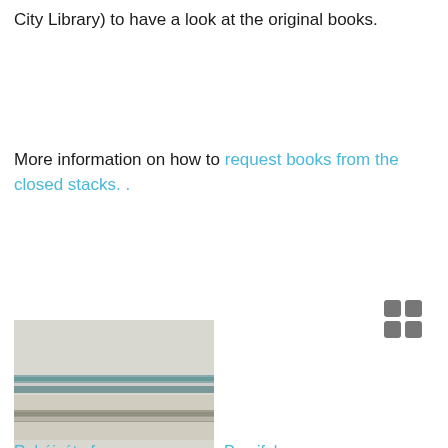City Library) to have a look at the original books.
More information on how to request books from the closed stacks. .
[Figure (other): Grid/tile view toggle icon (2x2 squares)]
[Figure (photo): Book cover of Rubáiyát of Omar Khayyám — narrow spine/cover image with blue-green tones]
[Figure (photo): Book cover of Parsifal, or, The legend of the Holy Grail — narrow spine/cover image with golden/tan tones]
Rubáiyát of Omar Khayyám
Parsifal, or, The legend of the Holy Grail
[Figure (photo): Partial book cover at bottom of page — narrow spine/cover image]